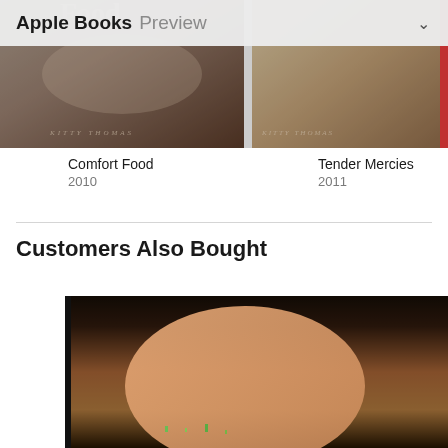Apple Books Preview
[Figure (photo): Book cover for Comfort Food, partially visible at top]
Comfort Food
2010
[Figure (photo): Book cover for Tender Mercies, partially visible at top]
Tender Mercies
2011
Br-
201
Customers Also Bought
[Figure (photo): Book cover showing a shirtless man against city backdrop]
[Figure (photo): Book cover by Cleary James showing an elegant woman in navy dress with pearl necklace]